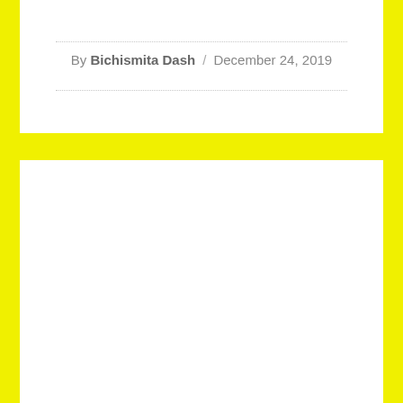By Bichismita Dash / December 24, 2019